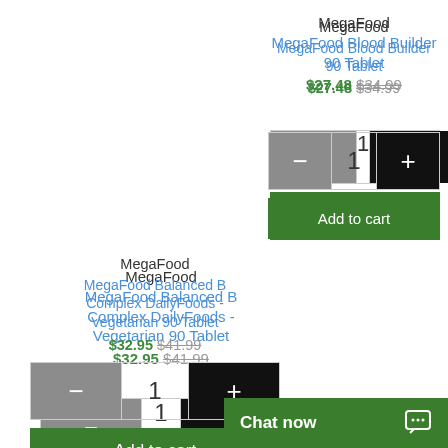MegaFood
MegaFood Blood Builder 90 Tablet
$27.48 $34.99
[Figure (screenshot): Quantity selector with minus and plus buttons, showing value 1]
Add to cart
MegaFood
MegaFood Balanced B Complex DailyFoods - Vegetarian 90 Tablet
$32.95 $41.99
[Figure (screenshot): Quantity selector with minus and plus buttons, showing value 1]
Add to cart
Chat now